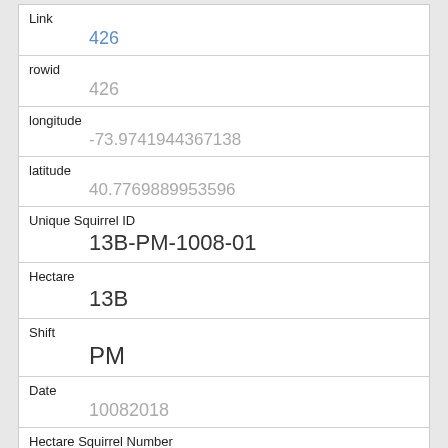| Field | Value |
| --- | --- |
| Link | 426 |
| rowid | 426 |
| longitude | -73.9741944367138 |
| latitude | 40.7769889953596 |
| Unique Squirrel ID | 13B-PM-1008-01 |
| Hectare | 13B |
| Shift | PM |
| Date | 10082018 |
| Hectare Squirrel Number | 1 |
| Age | Adult |